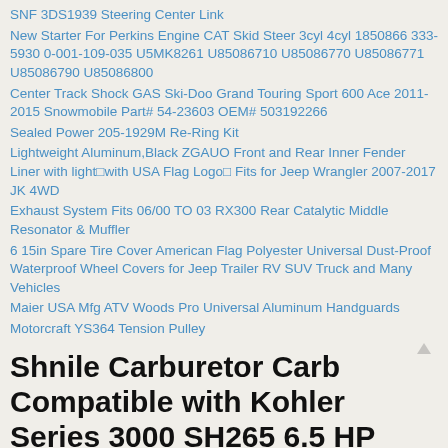SNF 3DS1939 Steering Center Link
New Starter For Perkins Engine CAT Skid Steer 3cyl 4cyl 1850866 333-5930 0-001-109-035 U5MK8261 U85086710 U85086770 U85086771 U85086790 U85086800
Center Track Shock GAS Ski-Doo Grand Touring Sport 600 Ace 2011-2015 Snowmobile Part# 54-23603 OEM# 503192266
Sealed Power 205-1929M Re-Ring Kit
Lightweight Aluminum,Black ZGAUO Front and Rear Inner Fender Liner with light□with USA Flag Logo□ Fits for Jeep Wrangler 2007-2017 JK 4WD
Exhaust System Fits 06/00 TO 03 RX300 Rear Catalytic Middle Resonator & Muffler
6 15in Spare Tire Cover American Flag Polyester Universal Dust-Proof Waterproof Wheel Covers for Jeep Trailer RV SUV Truck and Many Vehicles
Maier USA Mfg ATV Woods Pro Universal Aluminum Handguards
Motorcraft YS364 Tension Pulley
Shnile Carburetor Carb Compatible with Kohler Series 3000 SH265 6.5 HP